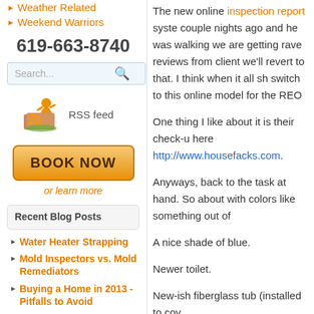Weather Related
Weekend Warriors
619-663-8740
Search...
[Figure (illustration): RSS feed icon with orange figure and RSS symbol]
RSS feed
BOOK NOW
or learn more
Recent Blog Posts
Water Heater Strapping
Mold Inspectors vs. Mold Remediators
Buying a Home in 2013 - Pitfalls to Avoid
The new online inspection report syste... couple nights ago and he was walking ... we are getting rave reviews from client... we'll revert to that. I think when it all sh... switch to this online model for the REO...
One thing I like about it is their check-u... here http://www.housefacks.com.
Anyways, back to the task at hand. So... about with colors like something out of...
A nice shade of blue.
Newer toilet.
New-ish fiberglass tub (installed to cov...
And the sink.
Now here is where radiator hoses do i... plumbing together in the other bathro...